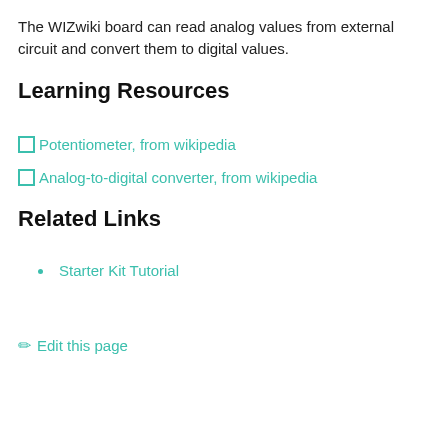The WIZwiki board can read analog values from external circuit and convert them to digital values.
Learning Resources
Potentiometer, from wikipedia
Analog-to-digital converter, from wikipedia
Related Links
Starter Kit Tutorial
✏ Edit this page